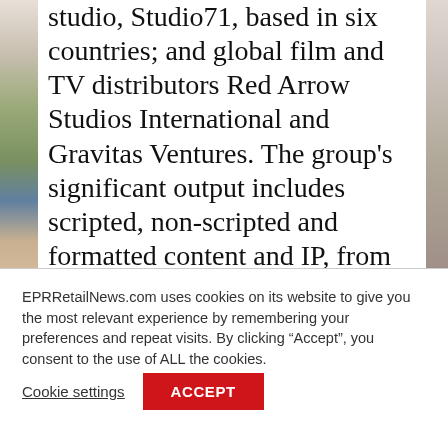studio, Studio71, based in six countries; and global film and TV distributors Red Arrow Studios International and Gravitas Ventures. The group's significant output includes scripted, non-scripted and formatted content and IP, from TV and film to short-form and branded content, made for an array of global networks and
EPRRetailNews.com uses cookies on its website to give you the most relevant experience by remembering your preferences and repeat visits. By clicking “Accept”, you consent to the use of ALL the cookies.
Cookie settings
ACCEPT